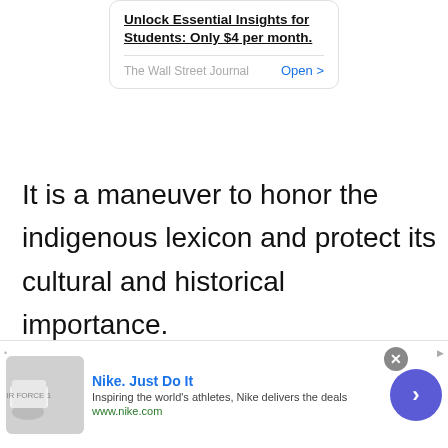[Figure (screenshot): Wall Street Journal ad card: 'Unlock Essential Insights for Students: Only $4 per month.' with Open button]
It is a maneuver to honor the indigenous lexicon and protect its cultural and historical importance.
The Endoglossic official language is the independent lexicon and not a native language. It is a separate language.
[Figure (screenshot): Nike advertisement banner: 'Nike. Just Do It' with shoe image, tagline 'Inspiring the world's athletes, Nike delivers the deals', url www.nike.com, close button and arrow button]